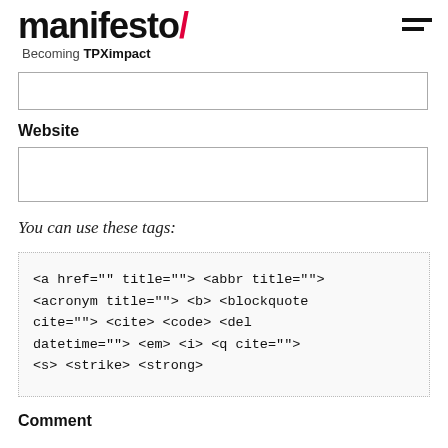manifesto/ Becoming TPXimpact
Website
You can use these tags:
<a href="" title=""> <abbr title=""> <acronym title=""> <b> <blockquote cite=""> <cite> <code> <del datetime=""> <em> <i> <q cite=""> <s> <strike> <strong>
Comment